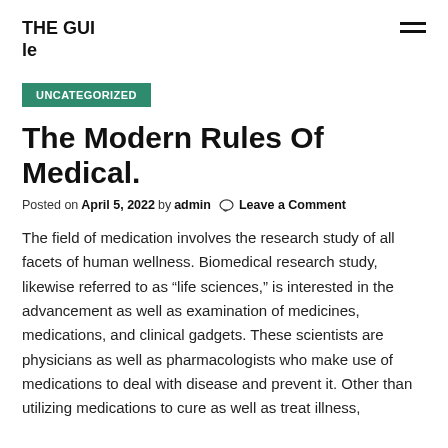THE GUIle
UNCATEGORIZED
The Modern Rules Of Medical.
Posted on April 5, 2022 by admin  Leave a Comment
The field of medication involves the research study of all facets of human wellness. Biomedical research study, likewise referred to as “life sciences,” is interested in the advancement as well as examination of medicines, medications, and clinical gadgets. These scientists are physicians as well as pharmacologists who make use of medications to deal with disease and prevent it. Other than utilizing medications to cure as well as treat illness,